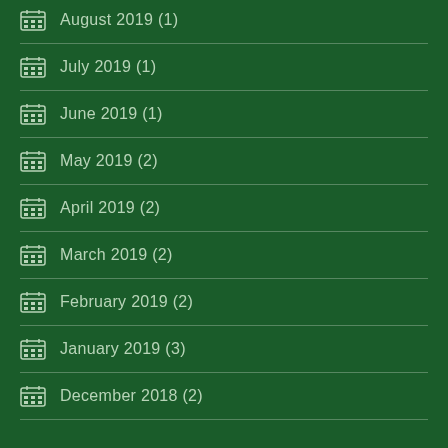August 2019 (1)
July 2019 (1)
June 2019 (1)
May 2019 (2)
April 2019 (2)
March 2019 (2)
February 2019 (2)
January 2019 (3)
December 2018 (2)